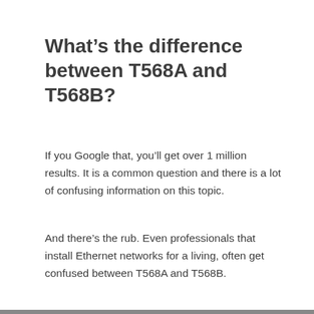What’s the difference between T568A and T568B?
If you Google that, you’ll get over 1 million results. It is a common question and there is a lot of confusing information on this topic.
And there’s the rub. Even professionals that install Ethernet networks for a living, often get confused between T568A and T568B.